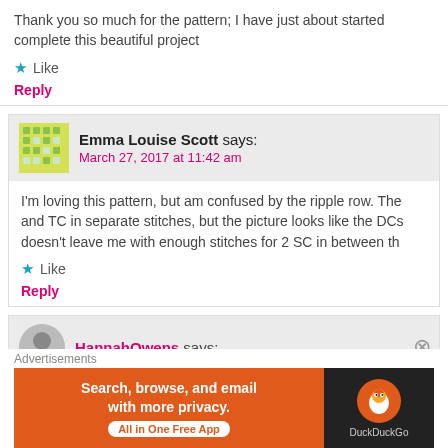Thank you so much for the pattern; I have just about started complete this beautiful project
★ Like
Reply
Emma Louise Scott says:
March 27, 2017 at 11:42 am
I'm loving this pattern, but am confused by the ripple row. The and TC in separate stitches, but the picture looks like the DCs doesn't leave me with enough stitches for 2 SC in between th
★ Like
Reply
HannahOwens says:
Advertisements
[Figure (infographic): DuckDuckGo advertisement banner: orange background with text 'Search, browse, and email with more privacy. All in One Free App' and DuckDuckGo logo on dark background]